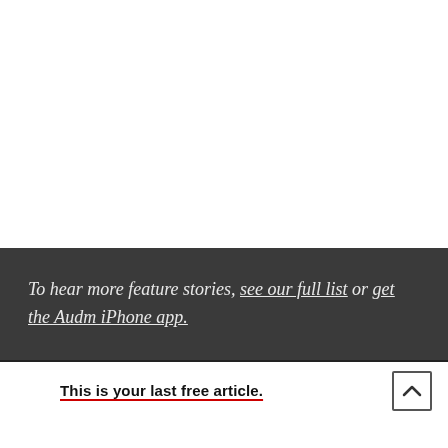To hear more feature stories, see our full list or get the Audm iPhone app.
This is your last free article.